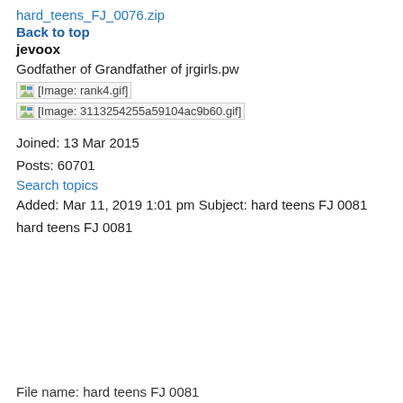hard_teens_FJ_0076.zip
Back to top
jevoox
Godfather of Grandfather of jrgirls.pw
[Figure (other): [Image: rank4.gif]]
[Figure (other): [Image: 3113254255a59104ac9b60.gif]]
Joined: 13 Mar 2015
Posts: 60701
Search topics
Added: Mar 11, 2019 1:01 pm Subject: hard teens FJ 0081
hard teens FJ 0081
###Description photoset###
File name: hard teens FJ 0081